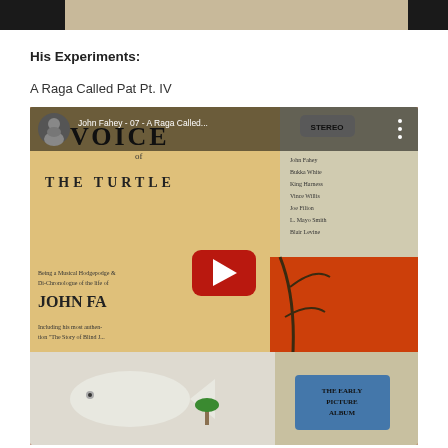[Figure (photo): Top strip showing partial album art — left black bar, center tan/beige section, right black bar]
His Experiments:
A Raga Called Pat Pt. IV
[Figure (screenshot): YouTube video embed showing John Fahey 'Voice of the Turtle' album cover art with title overlay 'John Fahey - 07 - A Raga Called...' and a play button in the center]